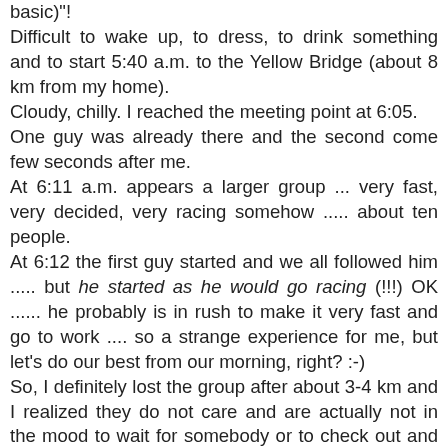basic)"!
Difficult to wake up, to dress, to drink something and to start 5:40 a.m. to the Yellow Bridge (about 8 km from my home).
Cloudy, chilly. I reached the meeting point at 6:05.
One guy was already there and the second come few seconds after me.
At 6:11 a.m. appears a larger group ... very fast, very decided, very racing somehow ..... about ten people.
At 6:12 the first guy started and we all followed him ..... but he started as he would go racing (!!!) OK ...... he probably is in rush to make it very fast and go to work .... so a strange experience for me, but let's do our best from our morning, right? :-)
So, I definitely lost the group after about 3-4 km and I realized they do not care and are actually not in the mood to wait for somebody or to check out and see if we all are together ....
I gave up to chase them and I continued the route till